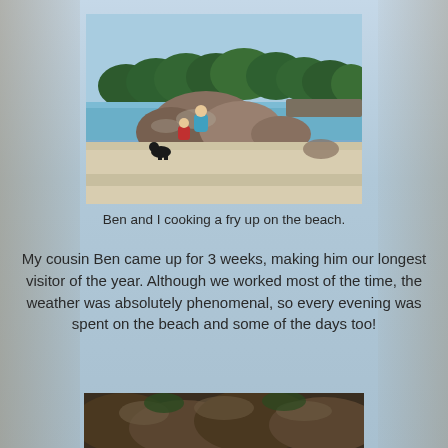[Figure (photo): Two people cooking on a sandy beach with large rocks, calm blue water, and green trees in the background. A black dog stands nearby.]
Ben and I cooking a fry up on the beach.
My cousin Ben came up for 3 weeks, making him our longest visitor of the year. Although we worked most of the time, the weather was absolutely phenomenal, so every evening was spent on the beach and some of the days too!
[Figure (photo): Partial view of a second beach/coastal photo at the bottom of the page, showing rocks and natural scenery.]